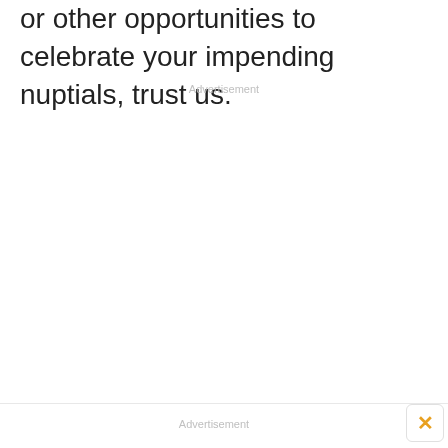or other opportunities to celebrate your impending nuptials, trust us.
Advertisement
Advertisement